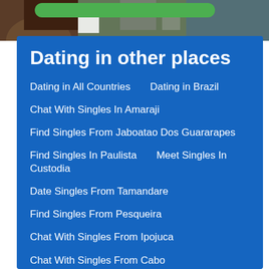[Figure (photo): Top portion of a person's head with brown hair, with a green button/bar overlay and a blurred background]
Dating in other places
Dating in All Countries    Dating in Brazil
Chat With Singles In Amaraji
Find Singles From Jaboatao Dos Guararapes
Find Singles In Paulista    Meet Singles In Custodia
Date Singles From Tamandare
Find Singles From Pesqueira
Chat With Singles From Ipojuca
Chat With Singles From Cabo